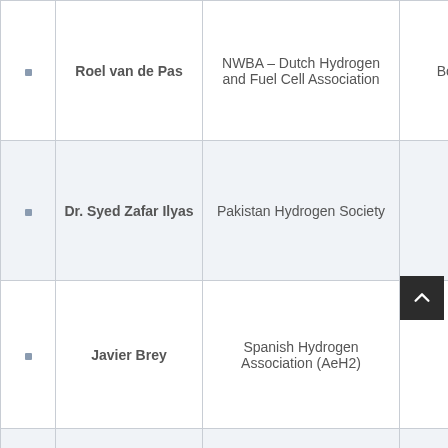|  | Name | Organization | Role | Country |
| --- | --- | --- | --- | --- |
| • | Roel van de Pas | NWBA – Dutch Hydrogen and Fuel Cell Association | Board Member | Neth… |
| • | Dr. Syed Zafar Ilyas | Pakistan Hydrogen Society | President | Pak… |
| • | Javier Brey | Spanish Hydrogen Association (AeH2) | Chairman | S… |
|  |  |  |  |  |